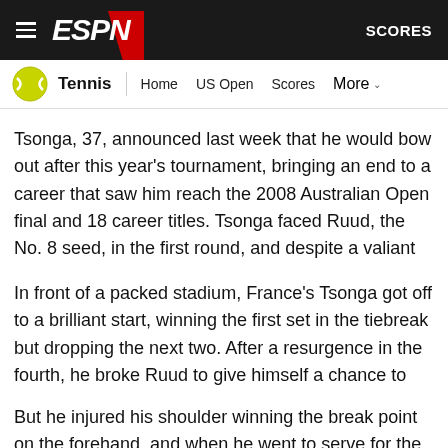ESPN — Tennis — Home | US Open | Scores | More — SCORES
Tsonga, 37, announced last week that he would bow out after this year's tournament, bringing an end to a career that saw him reach the 2008 Australian Open final and 18 career titles. Tsonga faced Ruud, the No. 8 seed, in the first round, and despite a valiant performance, injury led to an abrupt end to his hopes as he lost 6-7 (6), 7-6 (4), 6-2, 7-6 (0).
In front of a packed stadium, France's Tsonga got off to a brilliant start, winning the first set in the tiebreak but dropping the next two. After a resurgence in the fourth, he broke Ruud to give himself a chance to serve for the set at 6-5.
But he injured his shoulder winning the break point on the forehand, and when he went to serve for the set, he found he could…